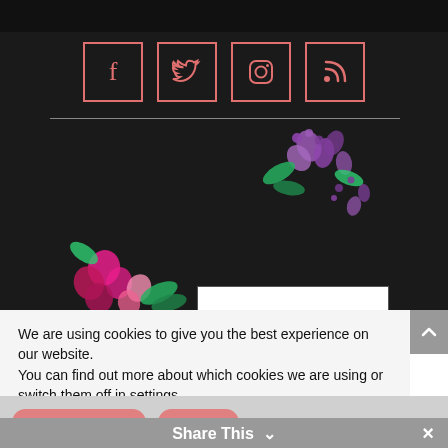[Figure (infographic): Four social media icons (Facebook, Twitter, Instagram, RSS) in salmon/coral outlined square boxes on dark background]
[Figure (logo): Bake Then Eat logo with floral decoration. White box with text 'Bake Then Eat' and subtitle 'Always Vegetarian sometimes Vegan' surrounded by watercolor flowers in purple and pink]
We are using cookies to give you the best experience on our website.
You can find out more about which cookies we are using or switch them off in settings.
[Figure (infographic): Accept Cookies and Reject buttons in salmon/coral rounded pill shape]
Share This ∨
✕